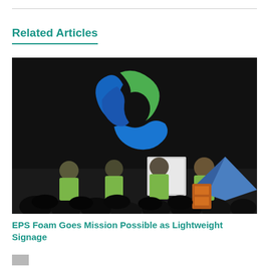Related Articles
[Figure (photo): A dark indoor event with people seated in the foreground, several presenters in green shirts on stage, a whiteboard, a blue and yellow tent in the background, and a large two-tone green and blue recycling/sustainability logo projected overhead on a black background.]
EPS Foam Goes Mission Possible as Lightweight Signage